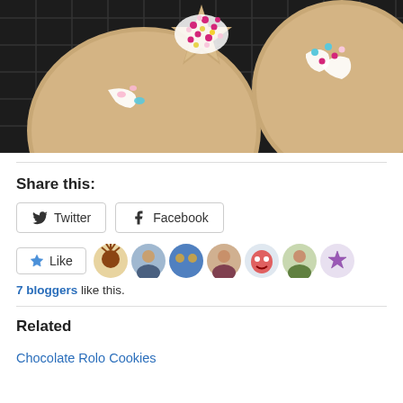[Figure (photo): Decorated sugar cookies with white icing and colorful sprinkles on a dark wire cooling rack. One star-shaped cookie with pink, yellow and white sprinkles is visible in the center-back, and two round cookies with icing drizzle are in front.]
Share this:
Twitter  Facebook
Like  7 bloggers like this.
Related
Chocolate Rolo Cookies